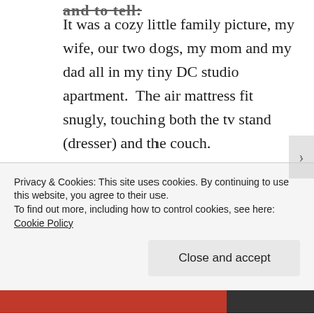and to tell:
It was a cozy little family picture, my wife, our two dogs, my mom and my dad all in my tiny DC studio apartment.  The air mattress fit snugly, touching both the tv stand (dresser) and the couch.
We watched Ocean's Eleven.  I'd
Privacy & Cookies: This site uses cookies. By continuing to use this website, you agree to their use.
To find out more, including how to control cookies, see here: Cookie Policy
Close and accept